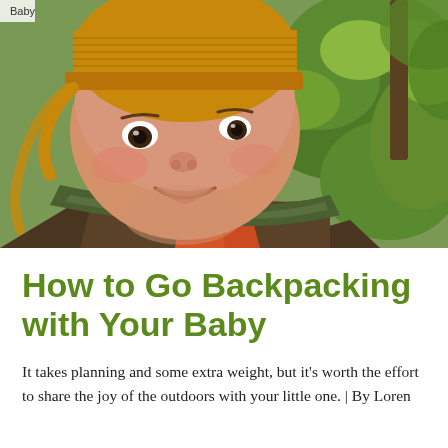Baby
[Figure (photo): Close-up photo of a smiling baby wearing a mustard yellow knit hat and brown jacket, photographed outdoors in a green forested setting. The baby appears to be in a baby carrier.]
How to Go Backpacking with Your Baby
It takes planning and some extra weight, but it's worth the effort to share the joy of the outdoors with your little one. | By Loren